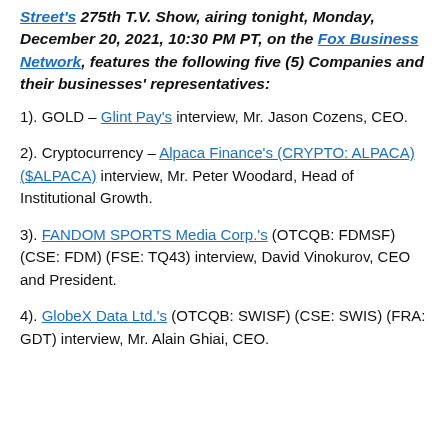Street's 275th T.V. Show, airing tonight, Monday, December 20, 2021, 10:30 PM PT, on the Fox Business Network, features the following five (5) Companies and their businesses' representatives:
1). GOLD – Glint Pay's interview, Mr. Jason Cozens, CEO.
2). Cryptocurrency – Alpaca Finance's (CRYPTO: ALPACA) ($ALPACA) interview, Mr. Peter Woodard, Head of Institutional Growth.
3). FANDOM SPORTS Media Corp.'s (OTCQB: FDMSF) (CSE: FDM) (FSE: TQ43) interview, David Vinokurov, CEO and President.
4). GlobeX Data Ltd.'s (OTCQB: SWISF) (CSE: SWIS) (FRA: GDT) interview, Mr. Alain Ghiai, CEO.